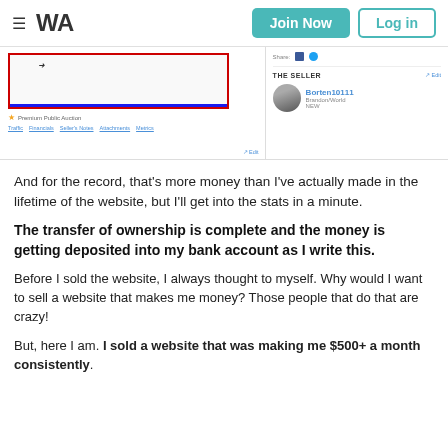≡ WA  Join Now  Log in
[Figure (screenshot): Screenshot of a website auction listing page with red border box, Premium Public Auction label, tab navigation, and seller profile for Borten10111 showing 'Brandon/World NEW']
And for the record, that's more money than I've actually made in the lifetime of the website, but I'll get into the stats in a minute.
The transfer of ownership is complete and the money is getting deposited into my bank account as I write this.
Before I sold the website, I always thought to myself. Why would I want to sell a website that makes me money? Those people that do that are crazy!
But, here I am. I sold a website that was making me $500+ a month consistently.